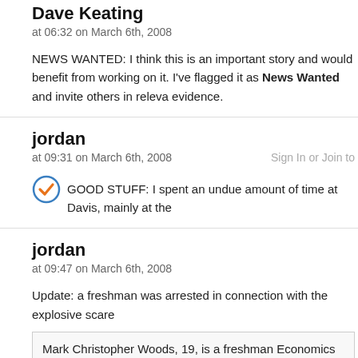Dave Keating
at 06:32 on March 6th, 2008
NEWS WANTED: I think this is an important story and would benefit from working on it. I've flagged it as News Wanted and invite others in relevant evidence.
jordan
at 09:31 on March 6th, 2008
Sign In or Join to
GOOD STUFF: I spent an undue amount of time at Davis, mainly at the
jordan
at 09:47 on March 6th, 2008
Update: a freshman was arrested in connection with the explosive scare
Mark Christopher Woods, 19, is a freshman Economics major from To
Paul
Pfotenhauer, a spokesman for the UC Davis Fire Department, said tha